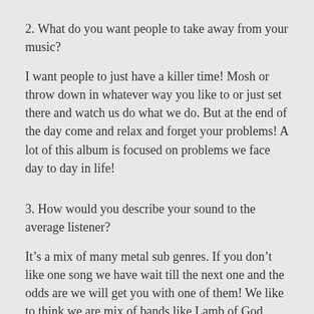2. What do you want people to take away from your music?
I want people to just have a killer time! Mosh or throw down in whatever way you like to or just set there and watch us do what we do. But at the end of the day come and relax and forget your problems! A lot of this album is focused on problems we face day to day in life!
3. How would you describe your sound to the average listener?
It’s a mix of many metal sub genres. If you don’t like one song we have wait till the next one and the odds are we will get you with one of them! We like to think we are mix of bands like Lamb of God, Slayer, BLS and any other band that just likes to kick your tooth in and throw